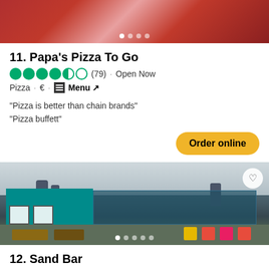[Figure (photo): Top portion of food photo carousel, showing red/pink food items]
11. Papa's Pizza To Go
(79) · Open Now
Pizza · € · Menu ↗
"Pizza is better than chain brands" "Pizza buffett"
Order online
[Figure (photo): Exterior photo of Sand Bar restaurant, a teal/turquoise building with outdoor seating area and colorful chairs]
12. Sand Bar
(52) · Open Now
American, Bar · €€ - €€€